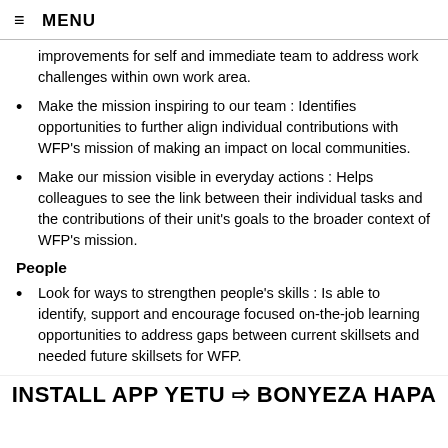≡ MENU
improvements for self and immediate team to address work challenges within own work area.
Make the mission inspiring to our team : Identifies opportunities to further align individual contributions with WFP's mission of making an impact on local communities.
Make our mission visible in everyday actions : Helps colleagues to see the link between their individual tasks and the contributions of their unit's goals to the broader context of WFP's mission.
People
Look for ways to strengthen people's skills : Is able to identify, support and encourage focused on-the-job learning opportunities to address gaps between current skillsets and needed future skillsets for WFP.
INSTALL APP YETU ⇒ BONYEZA HAPA